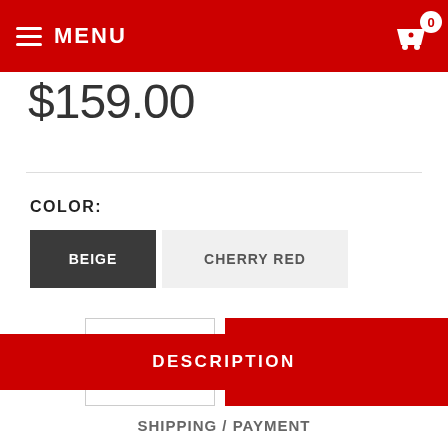MENU | Cart: 0
$159.00
COLOR:
BEIGE  CHERRY RED
QTY: 1  ADD TO CART
DESCRIPTION
SHIPPING / PAYMENT